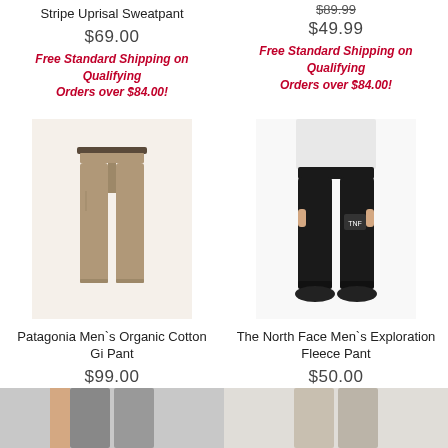Stripe Uprisal Sweatpant
$69.00
Free Standard Shipping on Qualifying Orders over $84.00!
$89.99
$49.99
Free Standard Shipping on Qualifying Orders over $84.00!
[Figure (photo): Patagonia Men's Organic Cotton Gi Pant - tan/khaki colored pants with belt]
Patagonia Men's Organic Cotton Gi Pant
$99.00
Free Standard Shipping on Qualifying Orders over $84.00!
[Figure (photo): The North Face Men's Exploration Fleece Pant - black jogger pants on model]
The North Face Men's Exploration Fleece Pant
$50.00
Free Standard Shipping on Qualifying Orders over $84.00!
[Figure (photo): Bottom cropped product image left]
[Figure (photo): Bottom cropped product image right]